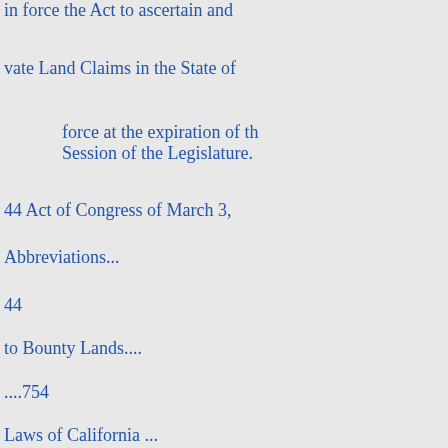in force the Act to ascertain and [settle pri-]
vate Land Claims in the State of [California,]
force at the expiration of th[e present]
Session of the Legislature.
44 Act of Congress of March 3, [1]
Abbreviations...
44
to Bounty Lands....
....754
Laws of California ...
45 Kentucky and Virginia Resolu[tions,]
Laws of Congress relative to Na[turali-]
.755
tion ......
....741 Decisions of the Supreme [Court,]
Laws of Congress for the Authen[tication]
of Records between the States....